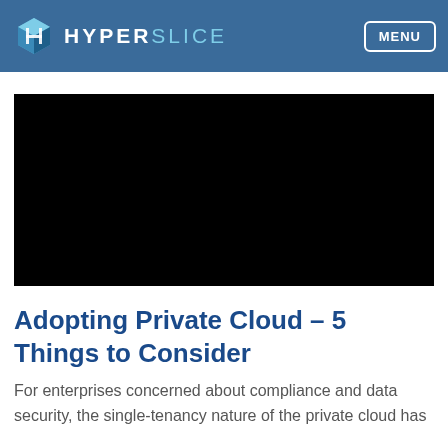HYPERSLICE MENU
[Figure (other): Black rectangle representing a video or image placeholder]
Adopting Private Cloud – 5 Things to Consider
For enterprises concerned about compliance and data security, the single-tenancy nature of the private cloud has